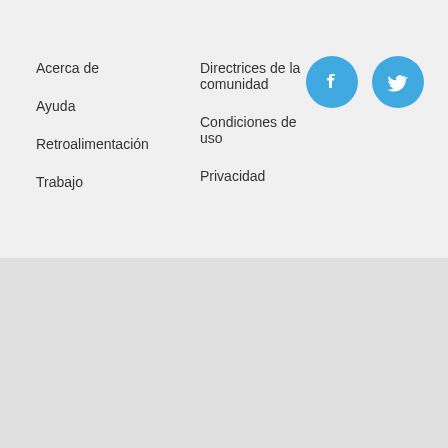Acerca de
Ayuda
Retroalimentación
Trabajo
Directrices de la comunidad
Condiciones de uso
Privacidad
[Figure (logo): Facebook social media icon - blue circle with white F logo]
[Figure (logo): Twitter social media icon - blue circle with white bird logo]
[Figure (logo): iNaturalist logo with green italic i and black bold Naturalist text]
[Figure (logo): California Academy of Sciences sunflower logo with text]
[Figure (logo): National Geographic yellow rectangle logo with text]